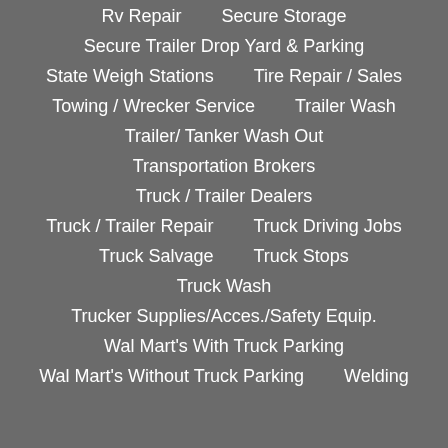Rv Repair    Secure Storage
Secure Trailer Drop Yard & Parking
State Weigh Stations    Tire Repair / Sales
Towing / Wrecker Service    Trailer Wash
Trailer/ Tanker Wash Out
Transportation Brokers
Truck / Trailer Dealers
Truck / Trailer Repair    Truck Driving Jobs
Truck Salvage    Truck Stops
Truck Wash
Trucker Supplies/Acces./Safety Equip.
Wal Mart's With Truck Parking
Wal Mart's Without Truck Parking    Welding